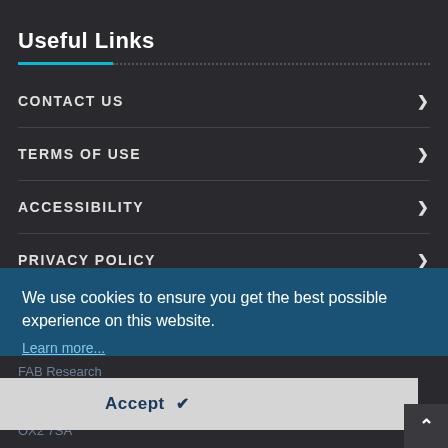Useful Links
CONTACT US
TERMS OF USE
ACCESSIBILITY
PRIVACY POLICY
Contact Us
FAB Research
23 Carlton Road
Oxford
OX2 7SA
We use cookies to ensure you get the best possible experience on this website.
Learn more...
Accept ✔